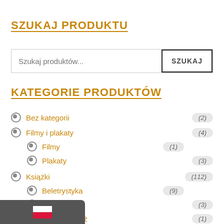SZUKAJ PRODUKTU
Szukaj produktów...
KATEGORIE PRODUKTÓW
Bez kategorii (2)
Filmy i plakaty (4)
Filmy (1)
Plakaty (3)
Książki (112)
Beletrystyka (9)
Biografie (3)
ent -Reportaż (1)